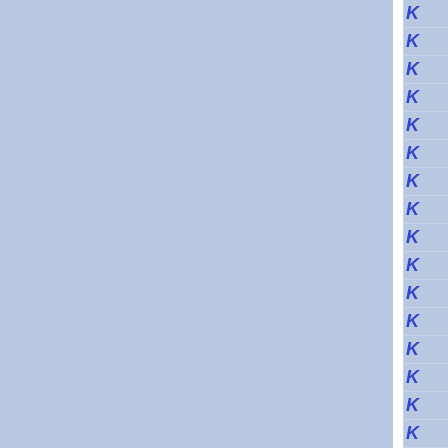[Figure (other): Page layout showing two large blue panels separated by a white vertical divider, with a right column containing rows of italic bold blue letter K, each row separated by thin lines.]